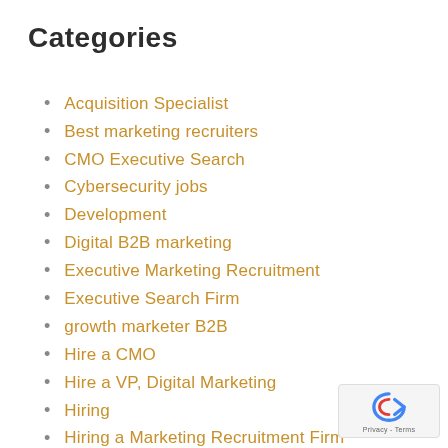Categories
Acquisition Specialist
Best marketing recruiters
CMO Executive Search
Cybersecurity jobs
Development
Digital B2B marketing
Executive Marketing Recruitment
Executive Search Firm
growth marketer B2B
Hire a CMO
Hire a VP, Digital Marketing
Hiring
Hiring a Marketing Recruitment Firm
How to Hire a CMO
marketing director beauty brands
marketing director personal care
[Figure (logo): reCAPTCHA badge with arrow icon and Privacy - Terms text]